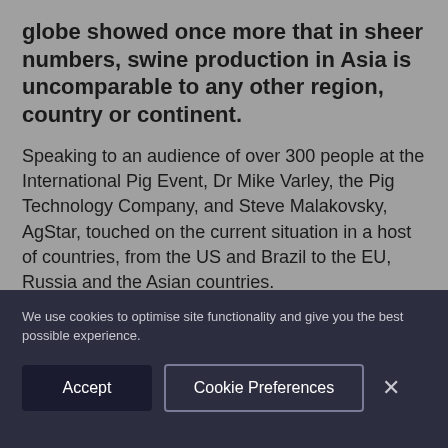globe showed once more that in sheer numbers, swine production in Asia is uncomparable to any other region, country or continent.
Speaking to an audience of over 300 people at the International Pig Event, Dr Mike Varley, the Pig Technology Company, and Steve Malakovsky, AgStar, touched on the current situation in a host of countries, from the US and Brazil to the EU, Russia and the Asian countries.
We use cookies to optimise site functionality and give you the best possible experience.